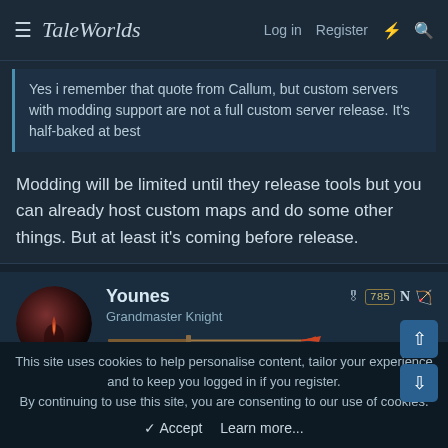TaleWorlds  Log in  Register
Yes i remember that quote from Callum, but custom servers with modding support are not a full custom server release. It's half-baked at best
Modding will be limited until they release tools but you can already host custom maps and do some other things. But at least it's coming before release.
Younes
Grandmaster Knight
[Figure (illustration): User avatar - dark red/black circular avatar image]
[Figure (illustration): Sword rank bar icon for Grandmaster Knight]
[Figure (illustration): TaleWorlds forum badge icon (TW shield) and Steam icon]
This site uses cookies to help personalise content, tailor your experience and to keep you logged in if you register.
By continuing to use this site, you are consenting to our use of cookies.
✓ Accept  Learn more...